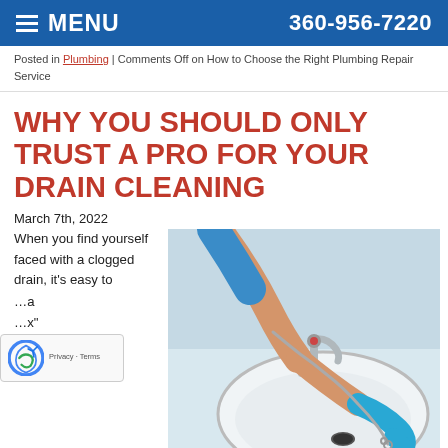MENU   360-956-7220
Posted in Plumbing | Comments Off on How to Choose the Right Plumbing Repair Service
WHY YOU SHOULD ONLY TRUST A PRO FOR YOUR DRAIN CLEANING
March 7th, 2022
When you find yourself faced with a clogged drain, it’s easy to ... a ... x” ... e that it will
[Figure (photo): A plumber wearing blue gloves using a drain snake/auger to clean a white bathroom sink drain, with a chrome faucet visible in the background.]